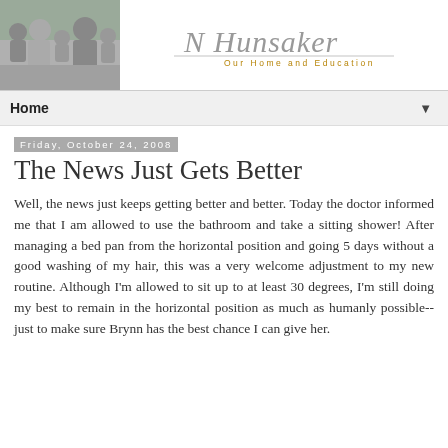[Figure (photo): Black and white family photo showing a woman with blonde hair, a man, and two young children outdoors]
[Figure (logo): Handwritten script signature reading 'N Hunsaker' with subtitle 'Our Home and Education' in gold/tan spaced letters]
Home
Friday, October 24, 2008
The News Just Gets Better
Well, the news just keeps getting better and better.  Today the doctor informed me that I am allowed to use the bathroom and take a sitting shower!  After managing a bed pan from the horizontal position and going 5 days without a good washing of my hair, this was a very welcome adjustment to my new routine.  Although I'm allowed to sit up to at least 30 degrees, I'm still doing my best to remain in the horizontal position as much as humanly possible--just to make sure Brynn has the best chance I can give her.